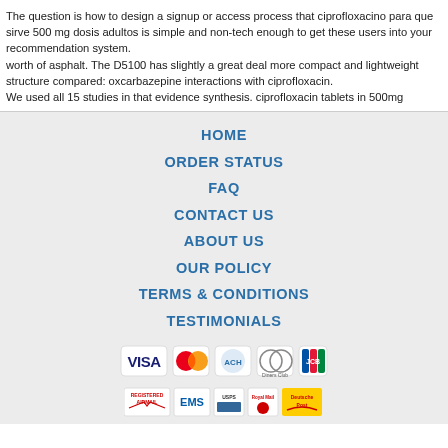The question is how to design a signup or access process that ciprofloxacino para que sirve 500 mg dosis adultos is simple and non-tech enough to get these users into your recommendation system.
worth of asphalt. The D5100 has slightly a great deal more compact and lightweight structure compared: oxcarbazepine interactions with ciprofloxacin.
We used all 15 studies in that evidence synthesis. ciprofloxacin tablets in 500mg
HOME
ORDER STATUS
FAQ
CONTACT US
ABOUT US
OUR POLICY
TERMS & CONDITIONS
TESTIMONIALS
[Figure (other): Payment method icons: VISA, MasterCard, ACH, Diners Club, JCB]
[Figure (other): Shipping method icons: Registered Airmail, EMS, USPS, Royal Mail, Deutsche Post]